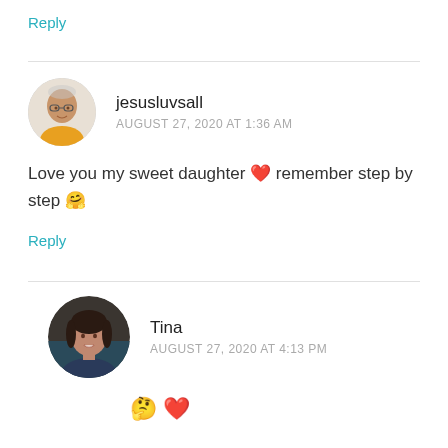Reply
jesusluvsall
AUGUST 27, 2020 AT 1:36 AM
Love you my sweet daughter ❤ remember step by step 🤔
Reply
Tina
AUGUST 27, 2020 AT 4:13 PM